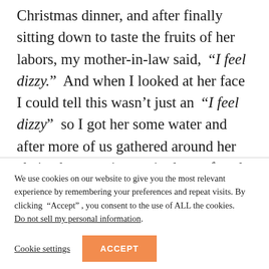Christmas dinner, and after finally sitting down to taste the fruits of her labors, my mother-in-law said, “I feel dizzy.” And when I looked at her face I could tell this wasn’t just an “I feel dizzy” so I got her some water and after more of us gathered around her chair, she grew increasingly confused and incoherent and then
We use cookies on our website to give you the most relevant experience by remembering your preferences and repeat visits. By clicking “Accept”, you consent to the use of ALL the cookies. Do not sell my personal information.
Cookie settings
ACCEPT